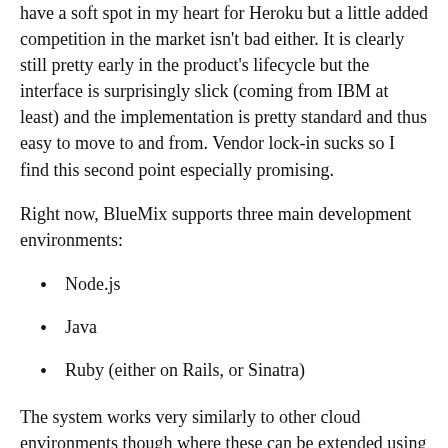have a soft spot in my heart for Heroku but a little added competition in the market isn't bad either. It is clearly still pretty early in the product's lifecycle but the interface is surprisingly slick (coming from IBM at least) and the implementation is pretty standard and thus easy to move to and from. Vendor lock-in sucks so I find this second point especially promising.
Right now, BlueMix supports three main development environments:
Node.js
Java
Ruby (either on Rails, or Sinatra)
The system works very similarly to other cloud environments though where these can be extended using